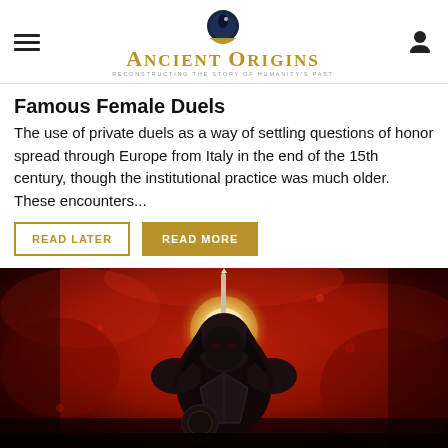Ancient Origins — Reconstructing the Story of Humanity's Past
Famous Female Duels
The use of private duels as a way of settling questions of honor spread through Europe from Italy in the end of the 15th century, though the institutional practice was much older. These encounters...
[Figure (illustration): Dark fantasy illustration of an armored warrior with long dark hair, holding a sword upright, with a glowing halo behind their head against a dramatic red background with swirling clouds and dark atmospheric effects.]